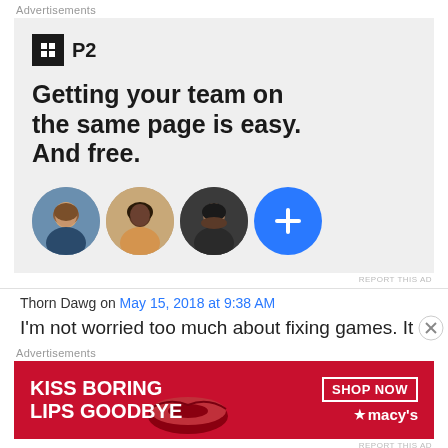Advertisements
[Figure (advertisement): P2 app advertisement with logo, tagline 'Getting your team on the same page is easy. And free.' and three profile photos plus a blue plus button]
REPORT THIS AD
Thorn Dawg on May 15, 2018 at 9:38 AM
I'm not worried too much about fixing games. It
Advertisements
[Figure (advertisement): Macy's advertisement: KISS BORING LIPS GOODBYE with SHOP NOW button and Macy's star logo]